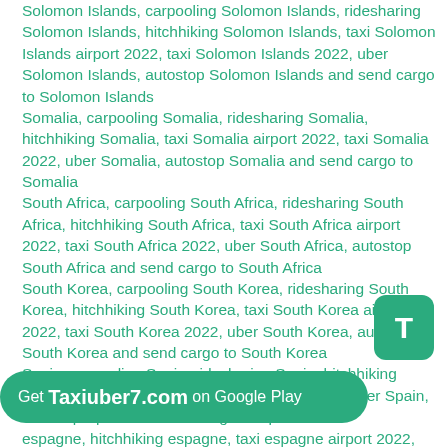Solomon Islands, carpooling Solomon Islands, ridesharing Solomon Islands, hitchhiking Solomon Islands, taxi Solomon Islands airport 2022, taxi Solomon Islands 2022, uber Solomon Islands, autostop Solomon Islands and send cargo to Solomon Islands Somalia, carpooling Somalia, ridesharing Somalia, hitchhiking Somalia, taxi Somalia airport 2022, taxi Somalia 2022, uber Somalia, autostop Somalia and send cargo to Somalia South Africa, carpooling South Africa, ridesharing South Africa, hitchhiking South Africa, taxi South Africa airport 2022, taxi South Africa 2022, uber South Africa, autostop South Africa and send cargo to South Africa South Korea, carpooling South Korea, ridesharing South Korea, hitchhiking South Korea, taxi South Korea airport 2022, taxi South Korea 2022, uber South Korea, autostop South Korea and send cargo to South Korea Spain, carpooling Spain, ridesharing Spain, hitchhiking Spain, taxi Spain airport 2022, taxi Spain 2022, uber Spain, autostop Spain and send cargo to Spain espagne, hitchhiking espagne, taxi espagne airport 2022, taxi
[Figure (other): Green rounded button with white letter T]
[Figure (other): Green banner at bottom with text: Get Taxiuber7.com on Google Play]